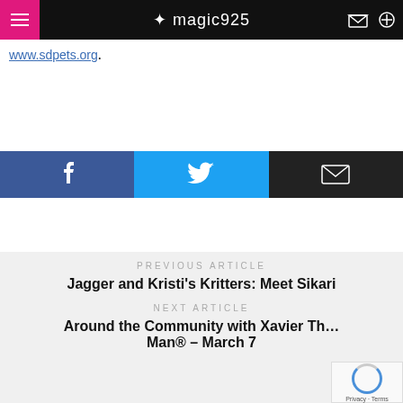magic925
www.sdpets.org.
[Figure (infographic): Social share bar with three buttons: Facebook (blue), Twitter (cyan), Email (dark)]
PREVIOUS ARTICLE
Jagger and Kristi's Kritters: Meet Sikari
NEXT ARTICLE
Around the Community with Xavier Th… Man® – March 7